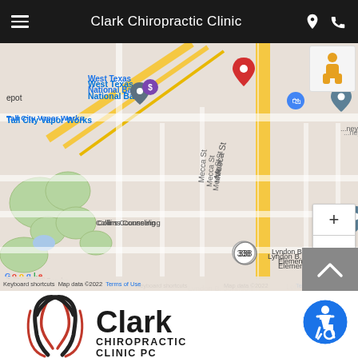Clark Chiropractic Clinic
[Figure (map): Google Maps view showing Clark Chiropractic Clinic area in Midland, Texas. Visible landmarks include West Texas National Bank, Crazy Clean Car Wash, Tall City Vapor Works, Collins Counseling, Lyndon B. Johnson Elementary, Lenny Carley with eXp Realty, Jen's Sugar Scrubs, Mecca St, Trails End Rd, Rocky Lane Rd, Piedmont, route 338. Map data 2022, keyboard shortcuts, Terms of Use.]
[Figure (logo): Clark Chiropractic Clinic PC logo with red swoosh design and black text]